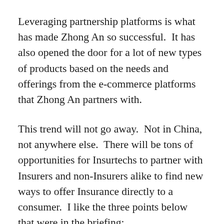Leveraging partnership platforms is what has made Zhong An so successful.  It has also opened the door for a lot of new types of products based on the needs and offerings from the e-commerce platforms that Zhong An partners with.
This trend will not go away.  Not in China, not anywhere else.  There will be tons of opportunities for Insurtechs to partner with Insurers and non-Insurers alike to find new ways to offer Insurance directly to a consumer.  I like the three points below that were in the briefing: